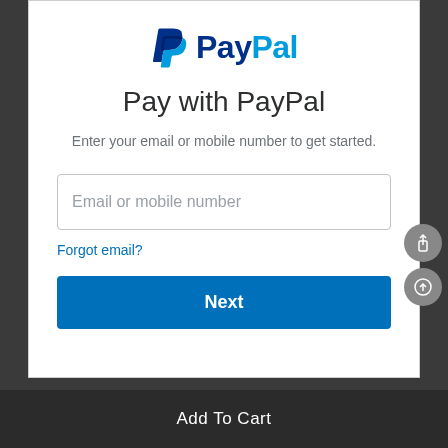[Figure (logo): PayPal logo with blue P icon and PayPal wordmark in blue]
Pay with PayPal
Enter your email or mobile number to get started.
Email or mobile number
Forgot email?
Next
Add To Cart